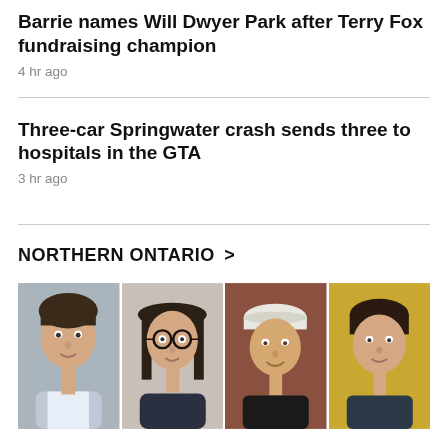Barrie names Will Dwyer Park after Terry Fox fundraising champion
4 hr ago
Three-car Springwater crash sends three to hospitals in the GTA
3 hr ago
NORTHERN ONTARIO >
[Figure (photo): Four portrait photos of individuals side by side]